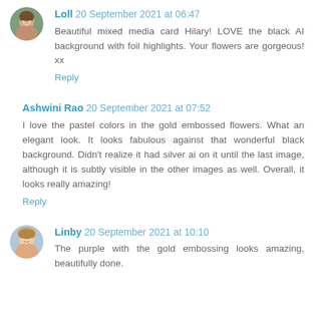[Figure (photo): Round avatar photo of Loll, a woman with glasses]
Loll 20 September 2021 at 06:47
Beautiful mixed media card Hilary! LOVE the black AI background with foil highlights. Your flowers are gorgeous! xx
Reply
Ashwini Rao 20 September 2021 at 07:52
I love the pastel colors in the gold embossed flowers. What an elegant look. It looks fabulous against that wonderful black background. Didn't realize it had silver ai on it until the last image, although it is subtly visible in the other images as well. Overall, it looks really amazing!
Reply
[Figure (photo): Round avatar photo of Linby, a woman smiling]
Linby 20 September 2021 at 10:10
The purple with the gold embossing looks amazing, beautifully done.